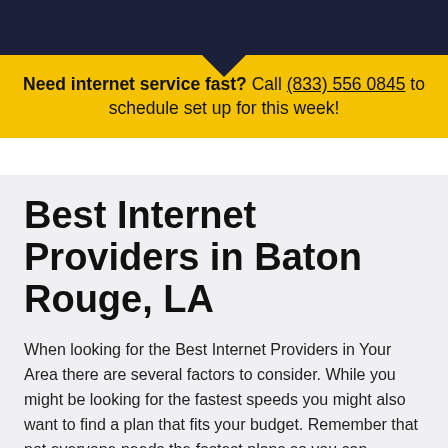[Figure (other): Dark navy blue header banner background]
Need internet service fast? Call (833) 556 0845 to schedule set up for this week!
Best Internet Providers in Baton Rouge, LA
When looking for the Best Internet Providers in Your Area there are several factors to consider. While you might be looking for the fastest speeds you might also want to find a plan that fits your budget. Remember that not everyone needs the fastest plans so you can